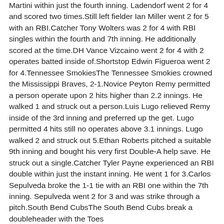Martini within just the fourth inning. Ladendorf went 2 for 4 and scored two times.Still left fielder Ian Miller went 2 for 5 with an RBI.Catcher Tony Wolters was 2 for 4 with RBI singles within the fourth and 7th inning. He additionally scored at the time.DH Vance Vizcaino went 2 for 4 with 2 operates batted inside of.Shortstop Edwin Figueroa went 2 for 4.Tennessee SmokiesThe Tennessee Smokies crowned the Mississippi Braves, 2-1.Novice Peyton Remy permitted a person operate upon 2 hits higher than 2.2 innings. He walked 1 and struck out a person.Luis Lugo relieved Remy inside of the 3rd inning and preferred up the get. Lugo permitted 4 hits still no operates above 3.1 innings. Lugo walked 2 and struck out 5.Ethan Roberts pitched a suitable 9th inning and bought his very first Double-A help save. He struck out a single.Catcher Tyler Payne experienced an RBI double within just the instant inning. He went 1 for 3.Carlos Sepulveda broke the 1-1 tie with an RBI one within the 7th inning. Sepulveda went 2 for 3 and was strike through a pitch.South Bend CubsThe South Bend Cubs break a doubleheader with the Toes https://www.slcfanshop.com/willie-mcgee-jersey. Wayne TinCaps (Padres), wasting the completion of Saturday video game 3-2 and successful the 7-inning instant sport, 11-4.Scott Kachmar threw 3 innings upon Saturday just before the rains arrived. He permitted 1 operate upon 1 strike and a person wander. Kachmar additionally strike just one batter. He struck out just one.Tanner Jesson-Dalton gave up a 2-function residence function 5th inning an took the reduction Ted Simmons Jersey. Jesson-Dalton pitched a few innings and permitted 2 operates upon 3 hits. He walked 4 and struck out a few. Middle fielder Nelson Velazquez strike an RBI double within just the backside of the to start with inning. He was 1